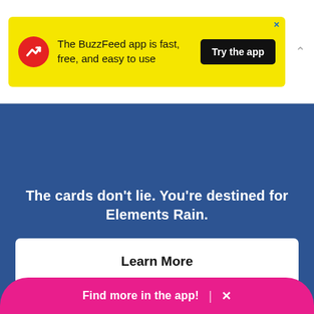[Figure (screenshot): BuzzFeed app advertisement banner on yellow background with red circular icon showing a white upward trending arrow, text 'The BuzzFeed app is fast, free, and easy to use', a black 'Try the app' button, and a close X.]
The cards don’t lie. You’re destined for Elements Rain.
Learn More
Presented By
[Figure (logo): Snapple logo in white outline style]
Find more in the app!